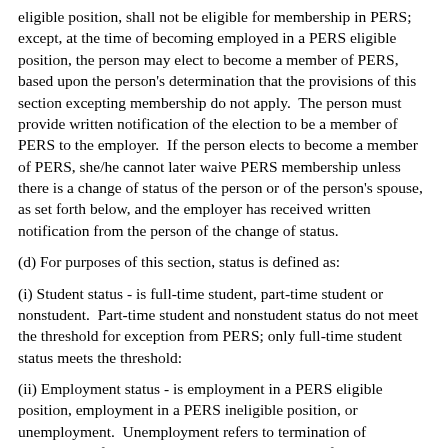eligible position, shall not be eligible for membership in PERS; except, at the time of becoming employed in a PERS eligible position, the person may elect to become a member of PERS, based upon the person's determination that the provisions of this section excepting membership do not apply.  The person must provide written notification of the election to be a member of PERS to the employer.  If the person elects to become a member of PERS, she/he cannot later waive PERS membership unless there is a change of status of the person or of the person's spouse, as set forth below, and the employer has received written notification from the person of the change of status.
(d) For purposes of this section, status is defined as:
(i) Student status - is full-time student, part-time student or nonstudent.  Part-time student and nonstudent status do not meet the threshold for exception from PERS; only full-time student status meets the threshold:
(ii) Employment status - is employment in a PERS eligible position, employment in a PERS ineligible position, or unemployment.  Unemployment refers to termination of employment from a Washington state institution of higher education or community college employer;